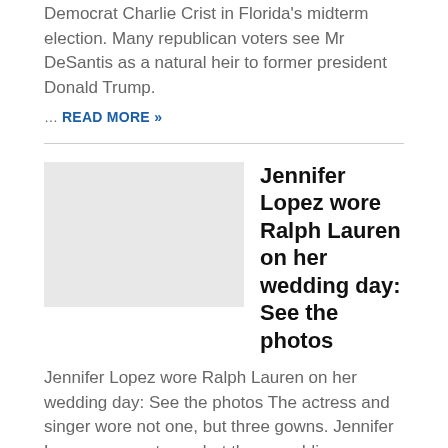Democrat Charlie Crist in Florida's midterm election. Many republican voters see Mr DeSantis as a natural heir to former president Donald Trump.
… READ MORE »
[Figure (photo): Thumbnail image placeholder for Jennifer Lopez article]
Jennifer Lopez wore Ralph Lauren on her wedding day: See the photos
Jennifer Lopez wore Ralph Lauren on her wedding day: See the photos The actress and singer wore not one, but three gowns. Jennifer Lopez wore not one, but three wedding … READ MORE »
[Figure (photo): Thumbnail image placeholder for Singapore masks article]
From Aug 29, masks not needed in Singapore except on